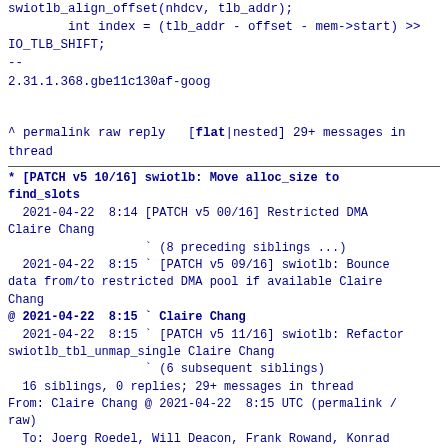swiotlb_align_offset(nhdcv, tlb_addr);
        int index = (tlb_addr - offset - mem->start) >>
IO_TLB_SHIFT;
--
2.31.1.368.gbe11c130af-goog
^ permalink raw reply  [flat|nested] 29+ messages in thread
* [PATCH v5 10/16] swiotlb: Move alloc_size to find_slots
  2021-04-22  8:14 [PATCH v5 00/16] Restricted DMA Claire Chang
                   ` (8 preceding siblings ...)
  2021-04-22  8:15 ` [PATCH v5 09/16] swiotlb: Bounce data from/to restricted DMA pool if available Claire Chang
@ 2021-04-22  8:15 ` Claire Chang
  2021-04-22  8:15 ` [PATCH v5 11/16] swiotlb: Refactor swiotlb_tbl_unmap_single Claire Chang
                   ` (6 subsequent siblings)
  16 siblings, 0 replies; 29+ messages in thread
From: Claire Chang @ 2021-04-22  8:15 UTC (permalink / raw)
  To: Joerg Roedel, Will Deacon, Frank Rowand, Konrad Rzeszutek Wilk,
        boris.ostrovsky, jgross, Christoph Hellwig, Marek Szyprowski